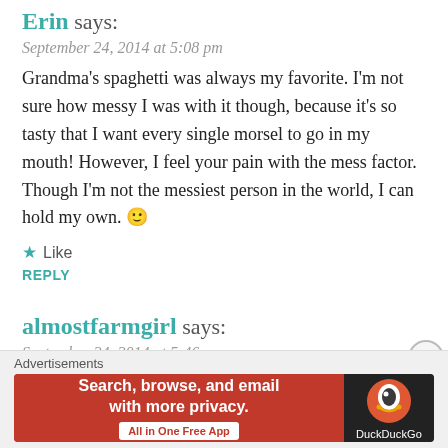Erin says:
September 24, 2014 at 5:08 pm
Grandma's spaghetti was always my favorite. I'm not sure how messy I was with it though, because it's so tasty that I want every single morsel to go in my mouth! However, I feel your pain with the mess factor. Though I'm not the messiest person in the world, I can hold my own. 🙂
★ Like
REPLY
almostfarmgirl says:
September 24, 2014 at 5:46 pm
I think I might be the messiest person in my world... 😐
★ Like
[Figure (screenshot): DuckDuckGo advertisement banner: orange background with text 'Search, browse, and email with more privacy. All in One Free App' and DuckDuckGo logo on dark background]